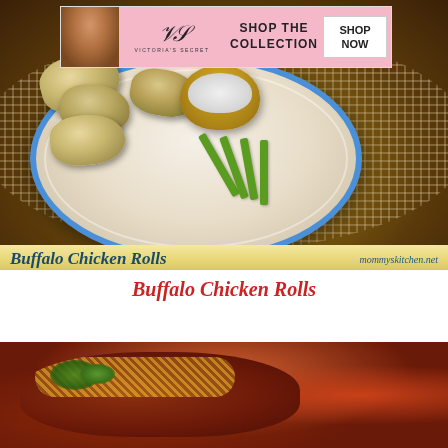[Figure (photo): Photo of Buffalo Chicken Rolls on a blue-rimmed plate with celery sticks and a dipping sauce bowl, on a woven placemat. Overlay ad banner for Victoria's Secret at top. Yellow banner at bottom reads 'Buffalo Chicken Rolls' and 'mommyskitchen.net'.]
Buffalo Chicken Rolls
[Figure (photo): Photo of a chili or bean stew in a red/orange bowl, topped with shredded cheese and fresh cilantro/herbs.]